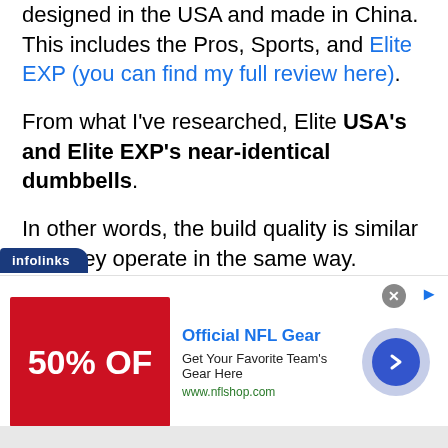designed in the USA and made in China. This includes the Pros, Sports, and Elite EXP (you can find my full review here).
From what I've researched, Elite USA's and Elite EXP's near-identical dumbbells.
In other words, the build quality is similar and they operate in the same way.
[Figure (screenshot): Infolinks advertisement banner for Official NFL Gear showing 50% OFF red image, blue title, description 'Get Your Favorite Team's Gear Here', URL www.nflshop.com, with arrow button and close button]